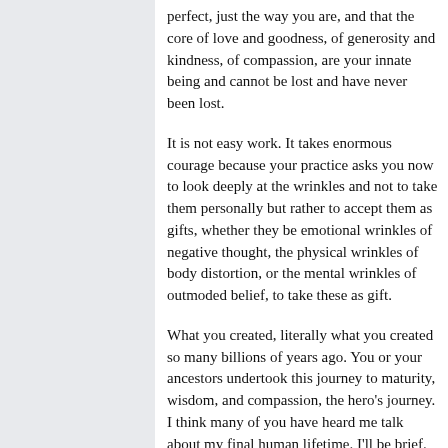perfect, just the way you are, and that the core of love and goodness, of generosity and kindness, of compassion, are your innate being and cannot be lost and have never been lost.
It is not easy work. It takes enormous courage because your practice asks you now to look deeply at the wrinkles and not to take them personally but rather to accept them as gifts, whether they be emotional wrinkles of negative thought, the physical wrinkles of body distortion, or the mental wrinkles of outmoded belief, to take these as gift.
What you created, literally what you created so many billions of years ago. You or your ancestors undertook this journey to maturity, wisdom, and compassion, the hero's journey. I think many of you have heard me talk about my final human lifetime. I'll be brief.
The being that I was, was a monk, a